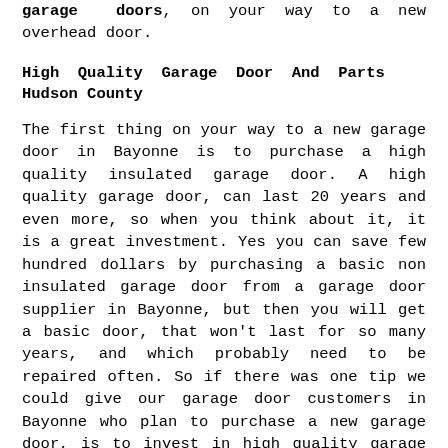garage doors, on your way to a new overhead door.
High Quality Garage Door And Parts Hudson County
The first thing on your way to a new garage door in Bayonne is to purchase a high quality insulated garage door. A high quality garage door, can last 20 years and even more, so when you think about it, it is a great investment. Yes you can save few hundred dollars by purchasing a basic non insulated garage door from a garage door supplier in Bayonne, but then you will get a basic door, that won't last for so many years, and which probably need to be repaired often. So if there was one tip we could give our garage door customers in Bayonne who plan to purchase a new garage door, is to invest in high quality garage door. Whether it is a garage door in Bayonne, or a garage door in Staten Island, quality is something that you will appreciate